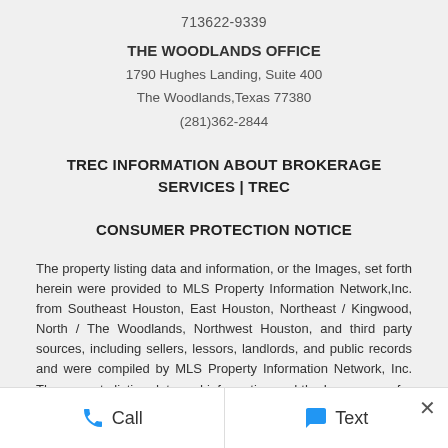713622-9339
THE WOODLANDS OFFICE
1790 Hughes Landing, Suite 400
The Woodlands,Texas 77380
(281)362-2844
TREC INFORMATION ABOUT BROKERAGE SERVICES | TREC CONSUMER PROTECTION NOTICE
The property listing data and information, or the Images, set forth herein were provided to MLS Property Information Network,Inc. from Southeast Houston, East Houston, Northeast / Kingwood, North / The Woodlands, Northwest Houston, and third party sources, including sellers, lessors, landlords, and public records and were compiled by MLS Property Information Network, Inc. The property listing data and information and the Images, are for the personal, non commercial use of consumers having a good faith interest in purchasing, leasing, or renting listed Properties of the type displayed to them and may not be used for any purpose other than to
Call  Text  ×